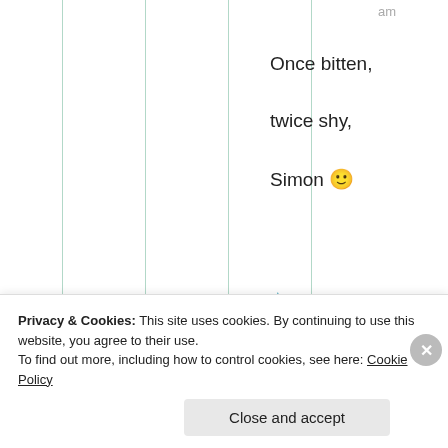am
Once bitten,
twice shy,
Simon 🙂
★ Liked by 1 person
[Figure (photo): User avatar photo showing a person, circular crop, grayscale]
ST
Sep
Privacy & Cookies: This site uses cookies. By continuing to use this website, you agree to their use.
To find out more, including how to control cookies, see here: Cookie Policy
Close and accept